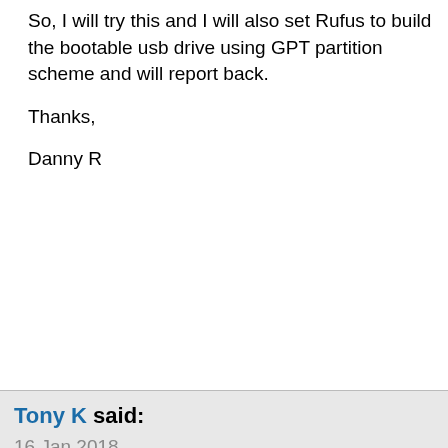So, I will try this and I will also set Rufus to build the bootable usb drive using GPT partition scheme and will report back.

Thanks,

Danny R
Tony K said:
16 Jan 2018
Originally Posted by djrobison22
Yeah? Even though it is an old laptop? I dont recall seeing anything in the BIOS that would allow me to change it to UEFI Boot Mode unless that is not something i need to do.

I have done several Clean Installations on this laptop as an Insider and before and this has never come up. Is it odd that it is all of a sudden an issue?

That does lead me to another question....I have a VAIO